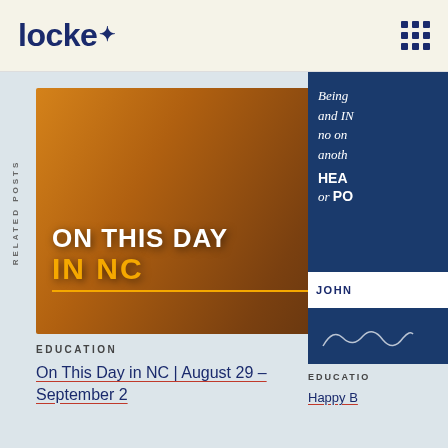locke
RELATED POSTS
[Figure (photo): North Carolina state seal with overlay text reading ON THIS DAY IN NC in white and gold on an amber/orange background]
EDUCATION
On This Day in NC | August 29 – September 2
[Figure (photo): Dark blue block with italic quote text: Being... and IN... no on... anoth... HEALTH or POLITICS. Below is a white bar with JOHN and a dark blue signature block.]
EDUCATIO
Happy B